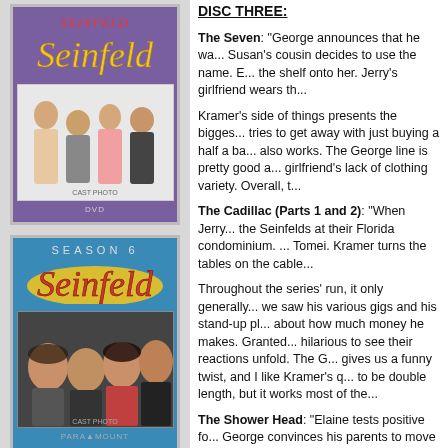[Figure (photo): Seinfeld Season 5 DVD cover with purple background and cast photo]
[Figure (photo): Seinfeld Season 6 DVD cover with teal/blue background, Season 6 text and cast photo]
[an error occurred while
DISC THREE:
The Seven: "George announces that he wa... Susan's cousin decides to use the name. E... the shelf onto her. Jerry's girlfriend wears th...
Kramer's side of things presents the bigges... tries to get away with just buying a half a ba... also works. The George line is pretty good a... girlfriend's lack of clothing variety. Overall, t...
The Cadillac (Parts 1 and 2): "When Jerry... the Seinfelds at their Florida condominium. ... Tomei. Kramer turns the tables on the cable...
Throughout the series' run, it only generally... we saw his various gigs and his stand-up pl... about how much money he makes. Granted... hilarious to see their reactions unfold. The G... gives us a funny twist, and I like Kramer's q... to be double length, but it works most of the...
The Shower Head: "Elaine tests positive fo... George convinces his parents to move to F... everyone in misery. Jerry's building change...
I'm with the guys here: those low-flow show... much to the story, but it provides some grea... Too bad Kramer's end credits shower blata... at Uncle Leo, as we learn a little more abou... also hilarious. I could live without the Elaine...